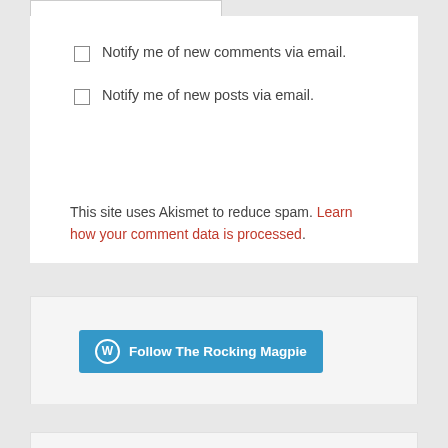Notify me of new comments via email.
Notify me of new posts via email.
This site uses Akismet to reduce spam. Learn how your comment data is processed.
[Figure (other): Follow The Rocking Magpie WordPress follow button widget in a light gray box]
Search ...